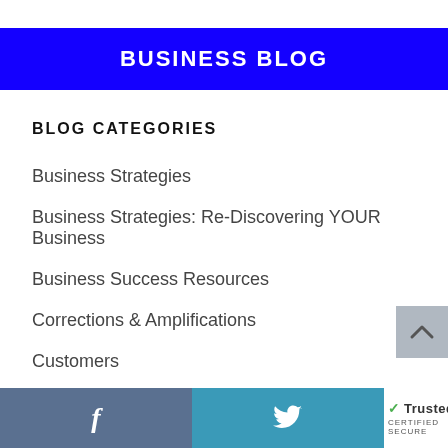BUSINESS BLOG
BLOG CATEGORIES
Business Strategies
Business Strategies: Re-Discovering YOUR Business
Business Success Resources
Corrections & Amplifications
Customers
General
Goals
f  [Twitter bird icon]  TrustedSite CERTIFIED SECURE